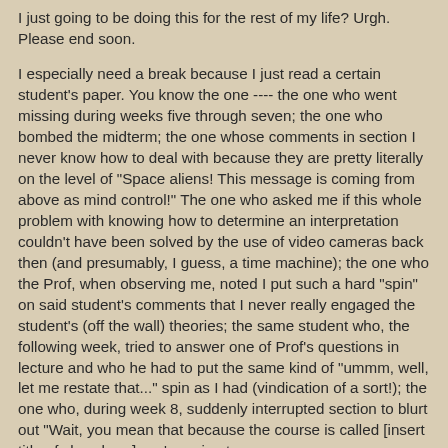I just going to be doing this for the rest of my life? Urgh. Please end soon.
I especially need a break because I just read a certain student's paper. You know the one ---- the one who went missing during weeks five through seven; the one who bombed the midterm; the one whose comments in section I never know how to deal with because they are pretty literally on the level of "Space aliens! This message is coming from above as mind control!" The one who asked me if this whole problem with knowing how to determine an interpretation couldn't have been solved by the use of video cameras back then (and presumably, I guess, a time machine); the one who the Prof, when observing me, noted I put such a hard "spin" on said student's comments that I never really engaged the student's (off the wall) theories; the same student who, the following week, tried to answer one of Prof's questions in lecture and who he had to put the same kind of "ummm, well, let me restate that..." spin as I had (vindication of a sort!); the one who, during week 8, suddenly interrupted section to blurt out "Wait, you mean that because the course is called [insert title of class here], we're going to